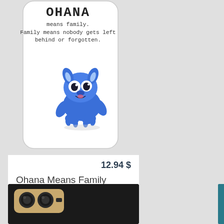[Figure (photo): A white Huawei P10 phone case featuring the Ohana quote ('OHANA means family. Family means nobody gets left behind or forgotten.') and a cartoon blue Stitch character sitting.]
12.94 $
Ohana Means Family Huawei P10 case
[Figure (photo): A black Huawei P10 phone case showing the back with dual camera setup in gold/black color.]